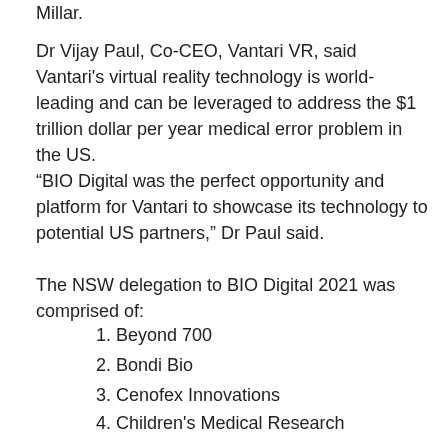Millar.
Dr Vijay Paul, Co-CEO, Vantari VR, said Vantari's virtual reality technology is world- leading and can be leveraged to address the $1 trillion dollar per year medical error problem in the US.
“BIO Digital was the perfect opportunity and platform for Vantari to showcase its technology to potential US partners,” Dr Paul said.
The NSW delegation to BIO Digital 2021 was comprised of:
1. Beyond 700
2. Bondi Bio
3. Cenofex Innovations
4. Children's Medical Research
5. Institute
6. Equinox Medical